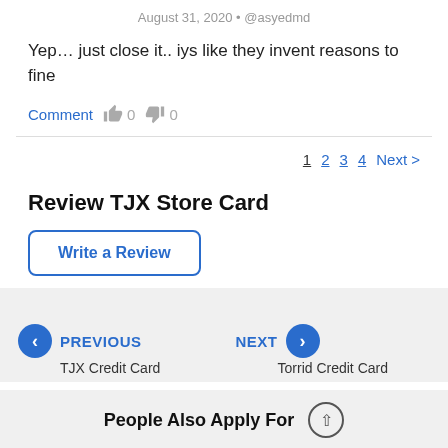August 31, 2020 • @asyedmd
Yep… just close it.. iys like they invent reasons to fine
Comment  👍 0  👎 0
1  2  3  4  Next >
Review TJX Store Card
Write a Review
< PREVIOUS   TJX Credit Card
NEXT >   Torrid Credit Card
People Also Apply For